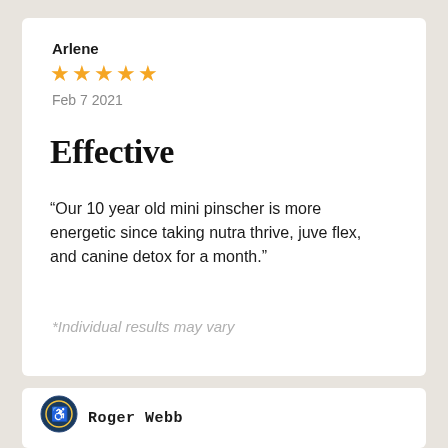Arlene
[Figure (illustration): Five orange star rating icons]
Feb 7 2021
Effective
“Our 10 year old mini pinscher is more energetic since taking nutra thrive, juve flex, and canine detox for a month.”
*Individual results may vary
[Figure (logo): Circular accessibility/certification badge icon]
Roger Webb